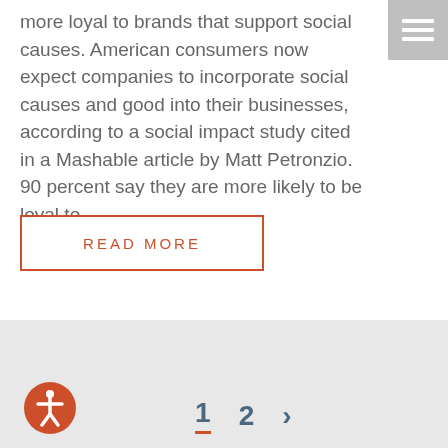more loyal to brands that support social causes. American consumers now expect companies to incorporate social causes and good into their businesses, according to a social impact study cited in a Mashable article by Matt Petronzio. 90 percent say they are more likely to be loyal to...
READ MORE
1  2  >